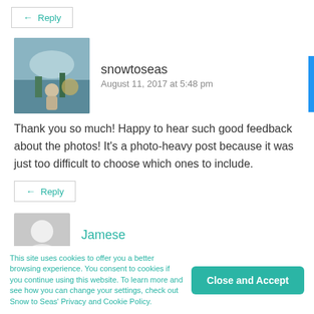← Reply
snowtoseas
August 11, 2017 at 5:48 pm
Thank you so much! Happy to hear such good feedback about the photos! It's a photo-heavy post because it was just too difficult to choose which ones to include.
← Reply
Jamese
August 5, 2017 at 5:10 pm
This site uses cookies to offer you a better browsing experience. You consent to cookies if you continue using this website. To learn more and see how you can change your settings, check out Snow to Seas' Privacy and Cookie Policy.